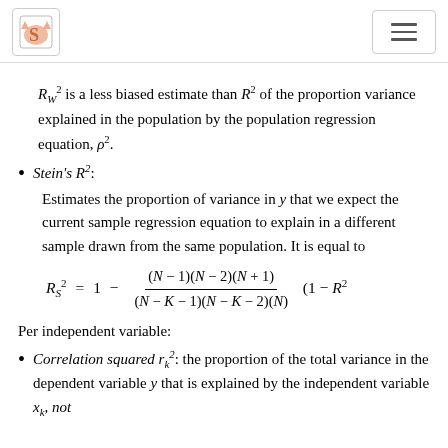Logo and navigation header
R²_W is a less biased estimate than R² of the proportion variance explained in the population by the population regression equation, ρ².
Stein's R²: Estimates the proportion of variance in y that we expect the current sample regression equation to explain in a different sample drawn from the same population. It is equal to
Per independent variable:
Correlation squared r²_k: the proportion of the total variance in the dependent variable y that is explained by the independent variable x_k, not